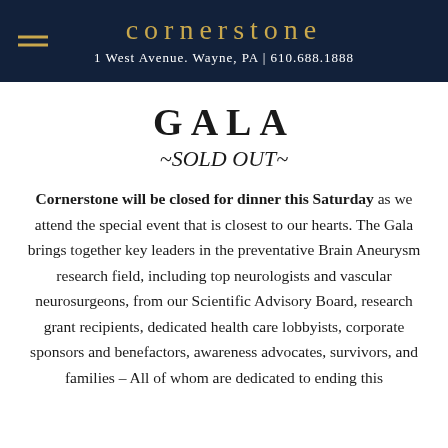cornerstone
1 West Avenue. Wayne, PA | 610.688.1888
GALA
~SOLD OUT~
Cornerstone will be closed for dinner this Saturday as we attend the special event that is closest to our hearts. The Gala brings together key leaders in the preventative Brain Aneurysm research field, including top neurologists and vascular neurosurgeons, from our Scientific Advisory Board, research grant recipients, dedicated health care lobbyists, corporate sponsors and benefactors, awareness advocates, survivors, and families – All of whom are dedicated to ending this